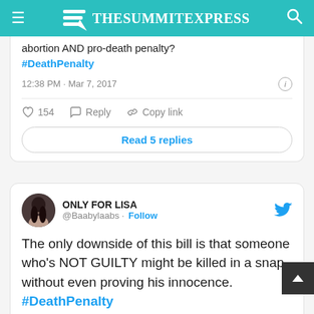TheSummitExpress
abortion AND pro-death penalty? #DeathPenalty
12:38 PM · Mar 7, 2017
♡ 154  Reply  Copy link
Read 5 replies
ONLY FOR LISA @Baabylaabs · Follow
The only downside of this bill is that someone who's NOT GUILTY might be killed in a snap without even proving his innocence. #DeathPenalty
1:23 PM · Mar 7, 2017